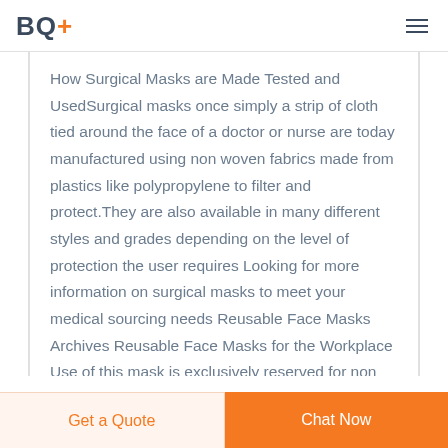BQ+
How Surgical Masks are Made Tested and UsedSurgical masks once simply a strip of cloth tied around the face of a doctor or nurse are today manufactured using non woven fabrics made from plastics like polypropylene to filter and protect.They are also available in many different styles and grades depending on the level of protection the user requires Looking for more information on surgical masks to meet your medical sourcing needs Reusable Face Masks Archives Reusable Face Masks for the Workplace Use of this mask is exclusively reserved for non sanitary purposes This device is not a
Get a Quote  Chat Now